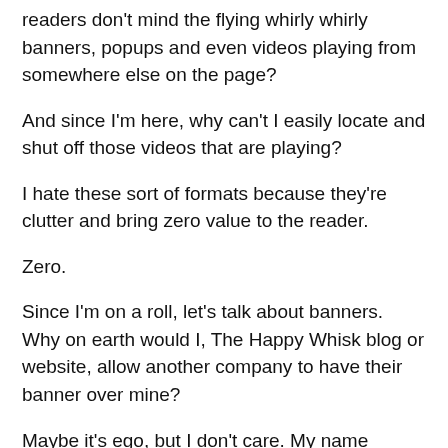readers don't mind the flying whirly whirly banners, popups and even videos playing from somewhere else on the page?
And since I'm here, why can't I easily locate and shut off those videos that are playing?
I hate these sort of formats because they're clutter and bring zero value to the reader.
Zero.
Since I'm on a roll, let's talk about banners. Why on earth would I, The Happy Whisk blog or website, allow another company to have their banner over mine?
Maybe it's ego, but I don't care. My name comes first. This is my page. I put the work in. I'm not handing the top banner space over to a company that I may or